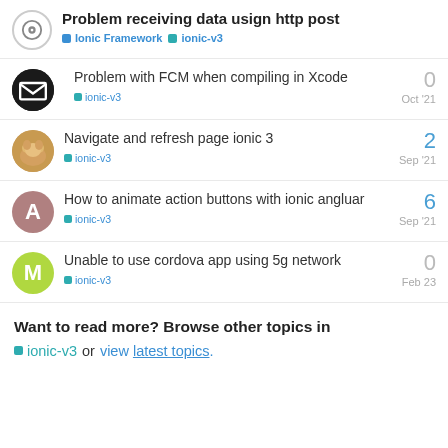Problem receiving data usign http post — Ionic Framework, ionic-v3
Problem with FCM when compiling in Xcode — ionic-v3 — Oct '21 — 0 replies
Navigate and refresh page ionic 3 — ionic-v3 — Sep '21 — 2 replies
How to animate action buttons with ionic angluar — ionic-v3 — Sep '21 — 6 replies
Unable to use cordova app using 5g network — ionic-v3 — Feb 23 — 0 replies
Want to read more? Browse other topics in ionic-v3 or view latest topics.